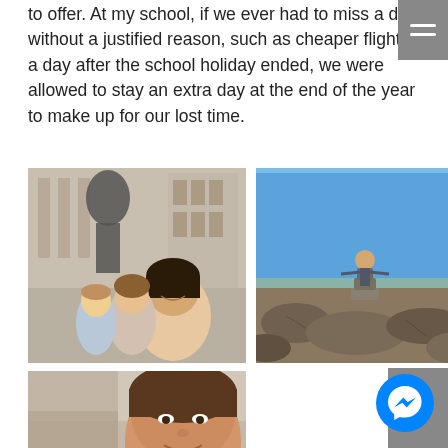to offer. At my school, if we ever had to miss a day without a justified reason, such as cheaper flights a day after the school holiday ended, we were allowed to stay an extra day at the end of the year to make up for our lost time.
[Figure (photo): Selfie of three young women in front of a statue and classical building in a city square]
[Figure (photo): Person standing on rocky mountain summit with arms outstretched under blue sky, arid landscape in background]
[Figure (photo): Close-up portrait of a smiling young man outdoors]